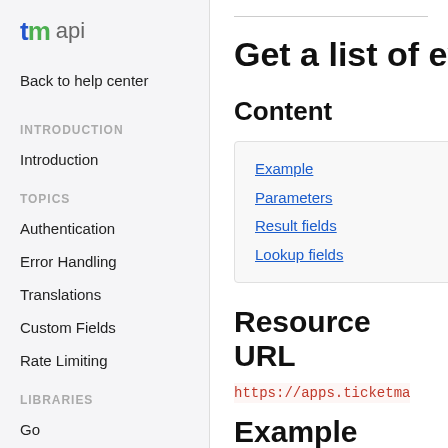tm api
Back to help center
INTRODUCTION
Introduction
TOPICS
Authentication
Error Handling
Translations
Custom Fields
Rate Limiting
LIBRARIES
Go
PHP
Get a list of ev
Content
Example
Parameters
Result fields
Lookup fields
Resource URL
https://apps.ticketma
Example